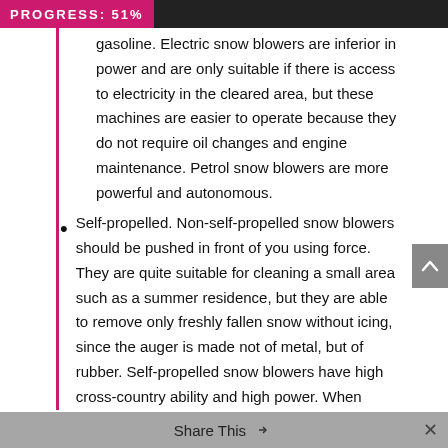PROGRESS: 51%
gasoline. Electric snow blowers are inferior in power and are only suitable if there is access to electricity in the cleared area, but these machines are easier to operate because they do not require oil changes and engine maintenance. Petrol snow blowers are more powerful and autonomous.
Self-propelled. Non-self-propelled snow blowers should be pushed in front of you using force. They are quite suitable for cleaning a small area such as a summer residence, but they are able to remove only freshly fallen snow without icing, since the auger is made not of metal, but of rubber. Self-propelled snow blowers have high cross-country ability and high power. When cleaning, the operator is only concerned with the control.
According to the method of snow removal, snow blowers are single-stage – only the auger is the working body, and